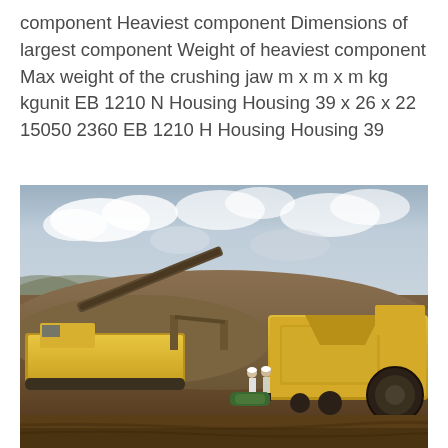component Heaviest component Dimensions of largest component Weight of heaviest component Max weight of the crushing jaw m x m x m kg kgunit EB 1210 N Housing Housing 39 x 26 x 22 15050 2360 EB 1210 H Housing Housing 39
[Figure (photo): Outdoor photo of heavy mining/quarry equipment including large yellow jaw crushers and conveyor belts on a muddy construction site. Two workers visible in the middle ground. Overcast sky with clouds in the background.]